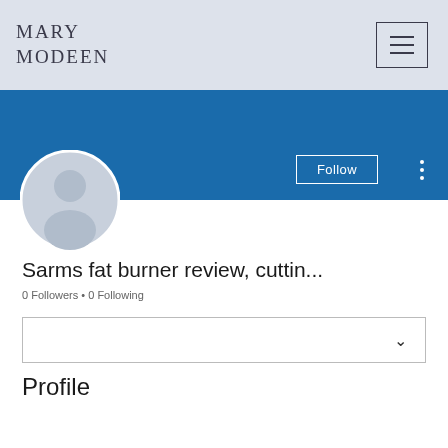Mary Modeen
[Figure (screenshot): Blue cover banner with Follow button and three-dot menu]
[Figure (photo): Default user profile avatar circle in light blue-grey]
Sarms fat burner review, cuttin...
0 Followers • 0 Following
[Figure (other): Dropdown selector box with chevron]
Profile